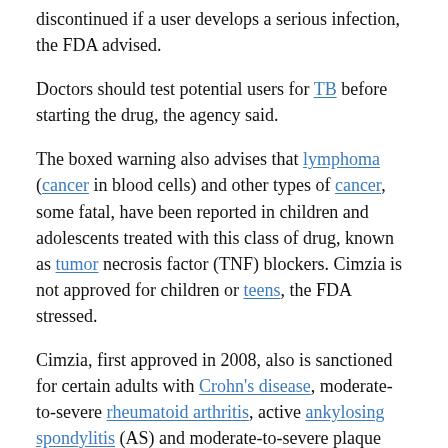discontinued if a user develops a serious infection, the FDA advised.
Doctors should test potential users for TB before starting the drug, the agency said.
The boxed warning also advises that lymphoma (cancer in blood cells) and other types of cancer, some fatal, have been reported in children and adolescents treated with this class of drug, known as tumor necrosis factor (TNF) blockers. Cimzia is not approved for children or teens, the FDA stressed.
Cimzia, first approved in 2008, also is sanctioned for certain adults with Crohn's disease, moderate-to-severe rheumatoid arthritis, active ankylosing spondylitis (AS) and moderate-to-severe plaque psoriasis.